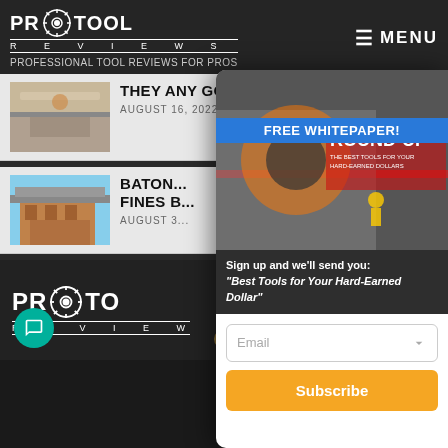PRO TOOL REVIEWS — PROFESSIONAL TOOL REVIEWS FOR PROS — MENU
[Figure (screenshot): Article thumbnail showing roof/gutter installation]
THEY ANY GOOD?
AUGUST 16, 2022
[Figure (screenshot): Article thumbnail showing brick building rooftop]
BATON... FINES B...
AUGUST 3...
[Figure (infographic): Popup modal: FREE WHITEPAPER! Hand & Power Tools Round-Up. Sign up and we'll send you: 'Best Tools for Your Hard-Earned Dollar'. Email input and Subscribe button.]
PRO TOOL REVIEWS — footer logo